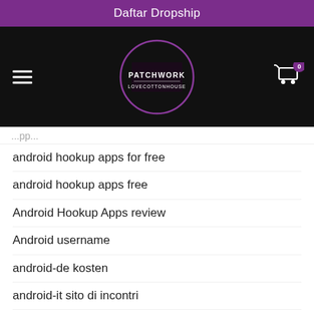Daftar Dropship
[Figure (logo): Patchwork Love Cotton House logo in a circle on black navigation bar with hamburger menu and cart icon showing 0 items]
...pp...
android hookup apps for free
android hookup apps free
Android Hookup Apps review
Android username
android-de kosten
android-it sito di incontri
android-tr Dating Apps
androide consejos